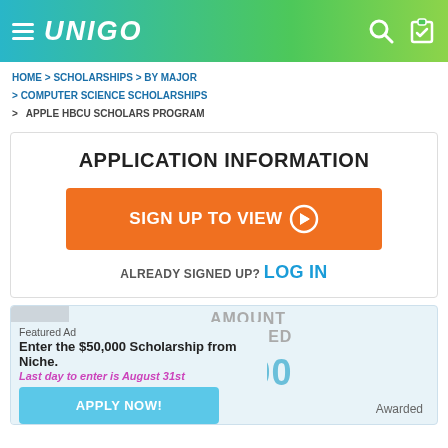UNIGO
HOME > SCHOLARSHIPS > BY MAJOR > COMPUTER SCIENCE SCHOLARSHIPS > APPLE HBCU SCHOLARS PROGRAM
APPLICATION INFORMATION
SIGN UP TO VIEW →
ALREADY SIGNED UP? LOG IN
AMOUNT AWARDED
$15,000
Awarded
Featured Ad
Enter the $50,000 Scholarship from Niche.
Last day to enter is August 31st
APPLY NOW!